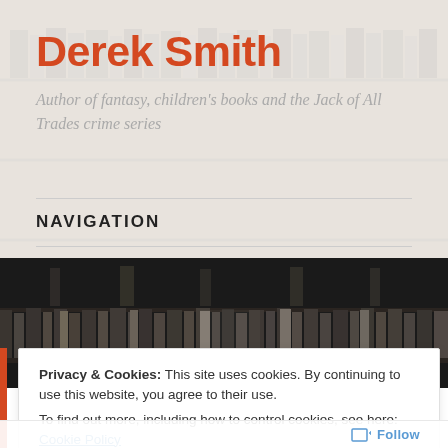Derek Smith
Author of fantasy, children's books and the Jack of All Trades crime series
NAVIGATION
[Figure (photo): Black and white photograph of bookshelves filled with books, viewed at an angle]
Privacy & Cookies: This site uses cookies. By continuing to use this website, you agree to their use.
To find out more, including how to control cookies, see here: Cookie Policy
Close and accept
Follow